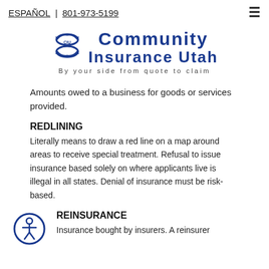ESPAÑOL | 801-973-5199
[Figure (logo): Community Insurance Utah logo with CIU emblem and tagline 'By your side from quote to claim']
Amounts owed to a business for goods or services provided.
REDLINING
Literally means to draw a red line on a map around areas to receive special treatment. Refusal to issue insurance based solely on where applicants live is illegal in all states. Denial of insurance must be risk-based.
[Figure (illustration): Accessibility icon: person in circle]
REINSURANCE
Insurance bought by insurers. A reinsurer